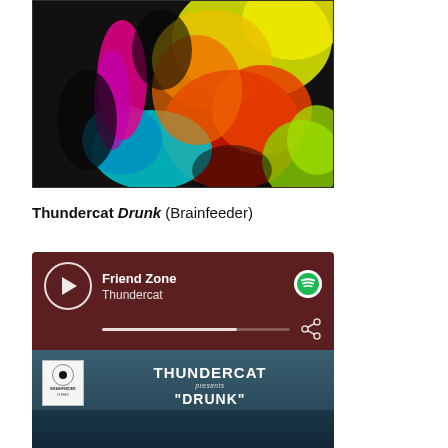[Figure (photo): Colorful abstract album art with psychedelic colors — yellow, red, blue, green on black background with a face visible]
Thundercat Drunk (Brainfeeder)
[Figure (screenshot): Spotify embedded music player showing 'Friend Zone' by Thundercat with play button, progress bar, share icon, and Spotify logo on dark maroon background. Below is an album image showing THUNDERCAT presents DRUNK text over water background with vinyl label.]